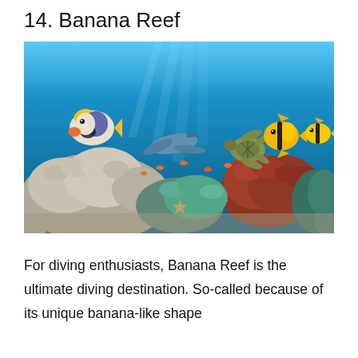14. Banana Reef
[Figure (photo): Underwater coral reef scene with colorful tropical fish including angelfish, blue ray fish, sea turtle, yellow butterflyfish, and small orange fish swimming above a vibrant coral reef with various corals and a starfish]
For diving enthusiasts, Banana Reef is the ultimate diving destination. So-called because of its unique banana-like shape